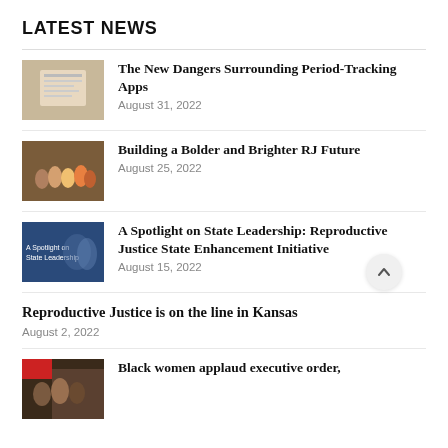LATEST NEWS
The New Dangers Surrounding Period-Tracking Apps
August 31, 2022
Building a Bolder and Brighter RJ Future
August 25, 2022
A Spotlight on State Leadership: Reproductive Justice State Enhancement Initiative
August 15, 2022
Reproductive Justice is on the line in Kansas
August 2, 2022
Black women applaud executive order,